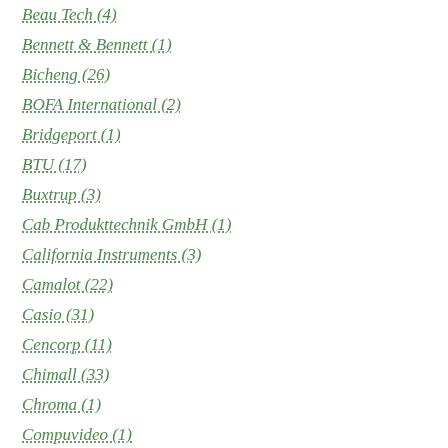Beau Tech (4)
Bennett & Bennett (1)
Bicheng (26)
BOFA International (2)
Bridgeport (1)
BTU (17)
Buxtrup (3)
Cab Produkttechnik GmbH (1)
California Instruments (3)
Camalot (22)
Casio (31)
Cencorp (11)
Chimall (33)
Chroma (1)
Compuvideo (1)
Conceptronics (10)
Contact Systems (21)
Conveyor Technologies (2)
Count on Tools (1320)